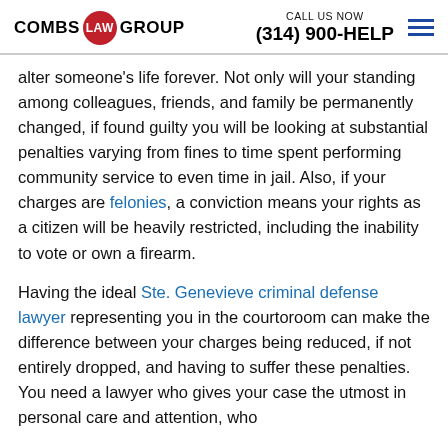COMBS LAW GROUP | CALL US NOW (314) 900-HELP
alter someone's life forever. Not only will your standing among colleagues, friends, and family be permanently changed, if found guilty you will be looking at substantial penalties varying from fines to time spent performing community service to even time in jail. Also, if your charges are felonies, a conviction means your rights as a citizen will be heavily restricted, including the inability to vote or own a firearm.
Having the ideal Ste. Genevieve criminal defense lawyer representing you in the courtoroom can make the difference between your charges being reduced, if not entirely dropped, and having to suffer these penalties. You need a lawyer who gives your case the utmost in personal care and attention, who